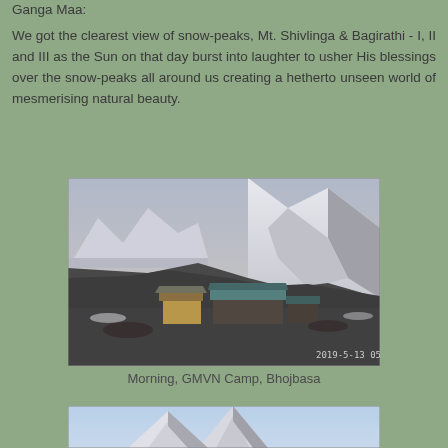Ganga Maa:
We got the clearest view of snow-peaks, Mt. Shivlinga & Bagirathi - I, II and III as the Sun on that day burst into laughter to usher His blessings over the snow-peaks all around us creating a hetherto unseen world of mesmerising natural beauty.
[Figure (photo): Morning view of GMVN Camp at Bhojbasa with snow-covered mountains in the background, dated 2019-5-13 05:15]
Morning, GMVN Camp, Bhojbasa
[Figure (photo): Partial view of a snow-covered mountain scene, bottom portion visible]